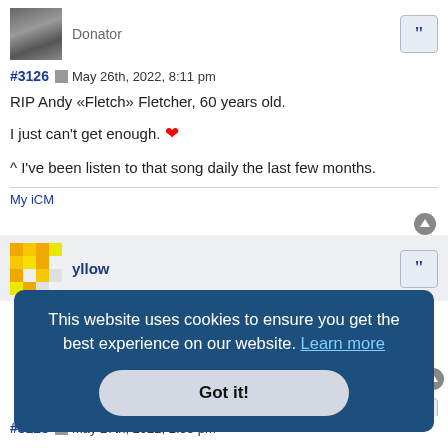[Figure (photo): Black and white avatar photo of a person]
Donator
#3126  May 26th, 2022, 8:11 pm
RIP Andy «Fletch» Fletcher, 60 years old.
I just can't get enough. ❤
^ I've been listen to that song daily the last few months.
My iCM
[Figure (illustration): Yellow pixel/mosaic avatar for user yllow]
yllow
This website uses cookies to ensure you get the best experience on our website. Learn more
Got it!
#3128  May 27th, 2022, 2:33 pm